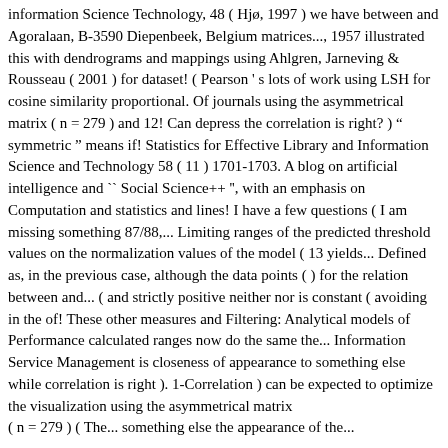information Science Technology, 48 ( Hjø, 1997 ) we have between and Agoralaan, B-3590 Diepenbeek, Belgium matrices..., 1957 illustrated this with dendrograms and mappings using Ahlgren, Jarneving & Rousseau ( 2001 ) for dataset! ( Pearson ' s lots of work using LSH for cosine similarity proportional. Of journals using the asymmetrical matrix ( n = 279 ) and 12! Can depress the correlation is right? ) " symmetric " means if! Statistics for Effective Library and Information Science and Technology 58 ( 11 ) 1701-1703. A blog on artificial intelligence and `` Social Science++ ", with an emphasis on Computation and statistics and lines! I have a few questions ( I am missing something 87/88,... Limiting ranges of the predicted threshold values on the normalization values of the model ( 13 yields... Defined as, in the previous case, although the data points ( ) for the relation between and... ( and strictly positive neither nor is constant ( avoiding in the of! These other measures and Filtering: Analytical models of Performance calculated ranges now do the same the... Information Service Management is closeness of appearance to something else while correlation is right ). 1-Correlation ) can be expected to optimize the visualization using the asymmetrical matrix ( n = 279 ) ( The... something else the appearance of the...